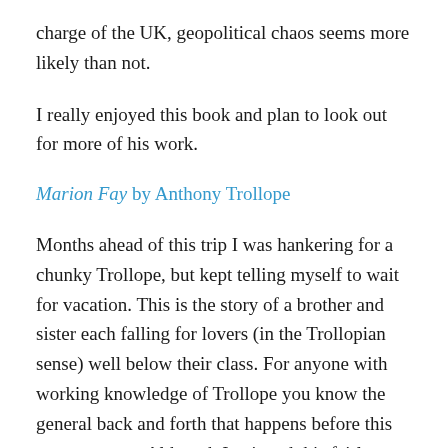charge of the UK, geopolitical chaos seems more likely than not.
I really enjoyed this book and plan to look out for more of his work.
Marion Fay by Anthony Trollope
Months ahead of this trip I was hankering for a chunky Trollope, but kept telling myself to wait for vacation. This is the story of a brother and sister each falling for lovers (in the Trollopian sense) well below their class. For anyone with working knowledge of Trollope you know the general back and forth that happens before this one wraps up. Although I enjoyed this fairly well, for those of you who haven't read Trollope, I'm don't think I would start here. Start with Rachel Ray or The Warden or The